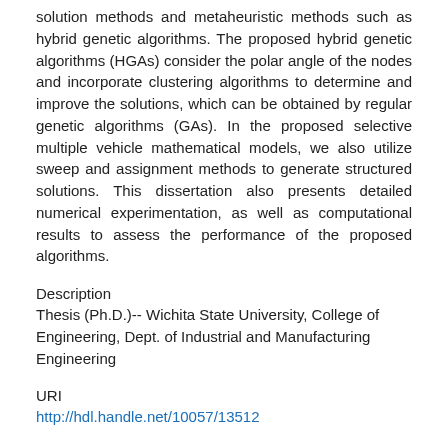solution methods and metaheuristic methods such as hybrid genetic algorithms. The proposed hybrid genetic algorithms (HGAs) consider the polar angle of the nodes and incorporate clustering algorithms to determine and improve the solutions, which can be obtained by regular genetic algorithms (GAs). In the proposed selective multiple vehicle mathematical models, we also utilize sweep and assignment methods to generate structured solutions. This dissertation also presents detailed numerical experimentation, as well as computational results to assess the performance of the proposed algorithms.
Description
Thesis (Ph.D.)-- Wichita State University, College of Engineering, Dept. of Industrial and Manufacturing Engineering
URI
http://hdl.handle.net/10057/13512
Collections
Dissertations